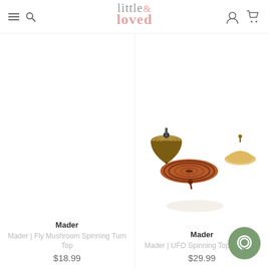little & loved
[Figure (photo): Product photo: Mader UFO Spinning Tops in walnut/copper and natural wood colors, showing three spinning tops]
Mader
Mader | Fly Mushroom Spinning Turn Top
$18.99
Mader
Mader | UFO Spinning Top - Natural
$29.99